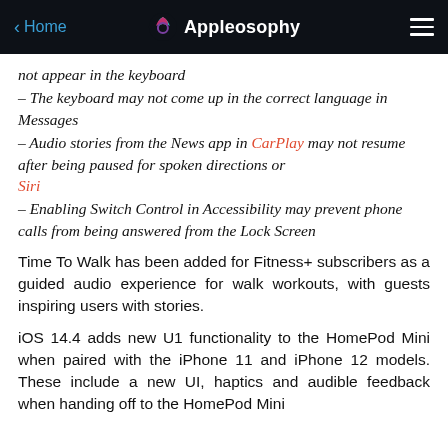Home | Appleosophy
not appear in the keyboard
– The keyboard may not come up in the correct language in Messages
– Audio stories from the News app in CarPlay may not resume after being paused for spoken directions or Siri
– Enabling Switch Control in Accessibility may prevent phone calls from being answered from the Lock Screen
Time To Walk has been added for Fitness+ subscribers as a guided audio experience for walk workouts, with guests inspiring users with stories.
iOS 14.4 adds new U1 functionality to the HomePod Mini when paired with the iPhone 11 and iPhone 12 models. These include a new UI, haptics and audible feedback when handing off to the HomePod Mini